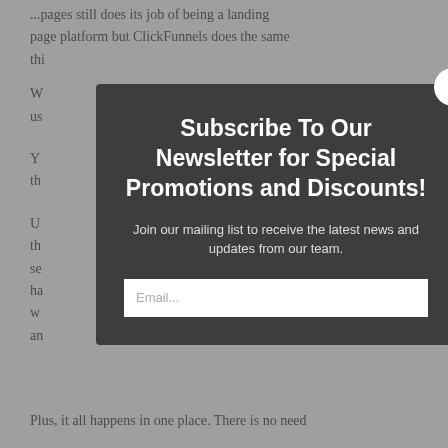...pages still does its job of being a landing page platform but ClickFunnels does the same thing...
You can... and the...
U... ol the... se... ha... w... an...
[Figure (screenshot): Modal popup overlay with dark background. Contains a close button (x) in the top right corner. Title reads: 'Subscribe To Our Newsletter for Special Promotions and Discounts!' Subtitle reads: 'Join our mailing list to receive the latest news and updates from our team.' An email input field is visible at the bottom.]
Plus, it all happens in one place. There is no need...